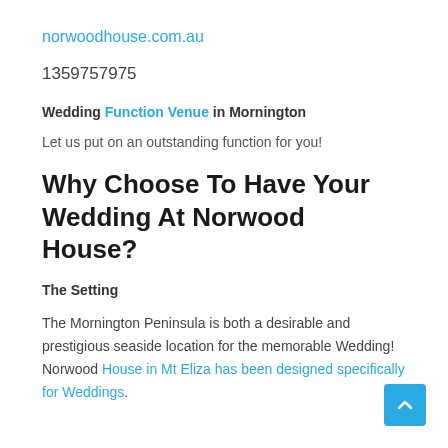norwoodhouse.com.au
1359757975
Wedding Function Venue in Mornington
Let us put on an outstanding function for you!
Why Choose To Have Your Wedding At Norwood House?
The Setting
The Mornington Peninsula is both a desirable and prestigious seaside location for the memorable Wedding! Norwood House in Mt Eliza has been designed specifically for Weddings.